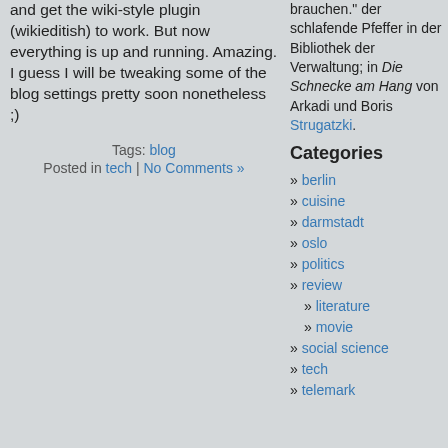and get the wiki-style plugin (wikieditish) to work. But now everything is up and running. Amazing. I guess I will be tweaking some of the blog settings pretty soon nonetheless ;)
Tags: blog
Posted in tech | No Comments »
brauchen." der schlafende Pfeffer in der Bibliothek der Verwaltung; in Die Schnecke am Hang von Arkadi und Boris Strugatzki.
Categories
» berlin
» cuisine
» darmstadt
» oslo
» politics
» review
» literature
» movie
» social science
» tech
» telemark